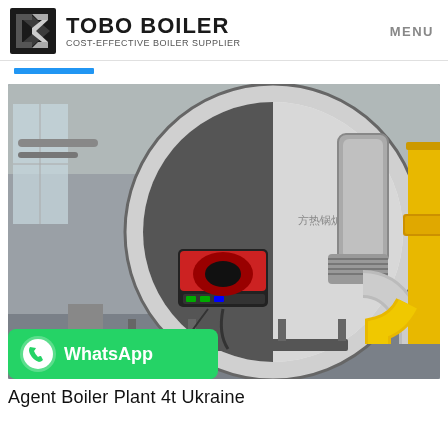TOBO BOILER COST-EFFECTIVE BOILER SUPPLIER | MENU
[Figure (photo): Industrial gas/steam boiler unit installed in a factory building. Large horizontal cylindrical drum boiler with a red/black burner unit at the front, silver insulated piping and flue gas ductwork on the right, yellow gas supply pipes, and Chinese text branding on the boiler body. WhatsApp contact overlay button in bottom-left corner.]
Agent Boiler Plant 4t Ukraine